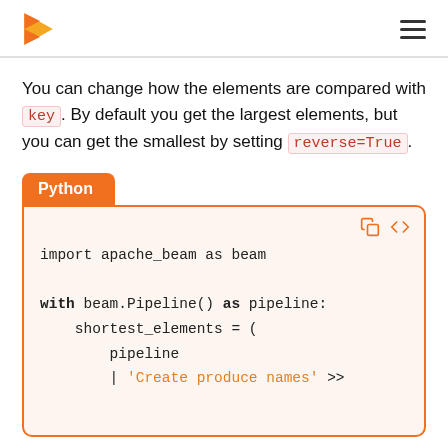Apache Beam documentation page header with logo and navigation menu
You can change how the elements are compared with key. By default you get the largest elements, but you can get the smallest by setting reverse=True.
[Figure (screenshot): Python code block tab label]
import apache_beam as beam

with beam.Pipeline() as pipeline:
    shortest_elements = (
        pipeline
        | 'Create produce names' >>